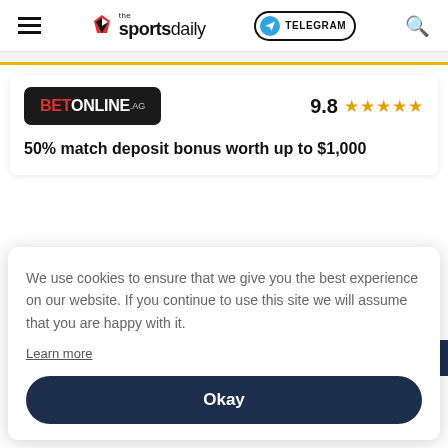the sportsdaily — TELEGRAM — Search
[Figure (screenshot): BetOnline.ag logo on dark background with white and red text]
9.8 ★★★★★
50% match deposit bonus worth up to $1,000
We use cookies to ensure that we give you the best experience on our website. If you continue to use this site we will assume that you are happy with it.
Learn more
Okay